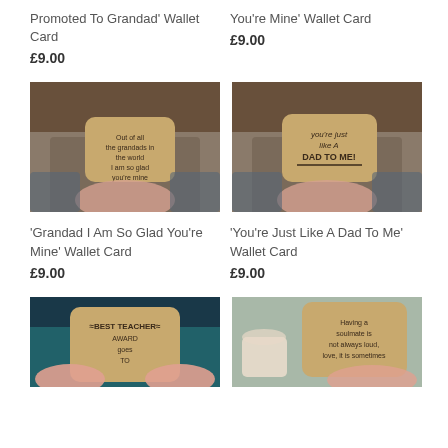Promoted To Grandad' Wallet Card
£9.00
You're Mine' Wallet Card
£9.00
[Figure (photo): Hand holding a wooden wallet card with text about grandads]
[Figure (photo): Hand holding a wooden wallet card reading 'you're just like a dad to me']
'Grandad I Am So Glad You're Mine' Wallet Card
£9.00
'You're Just Like A Dad To Me' Wallet Card
£9.00
[Figure (photo): Hands holding a wooden wallet card reading 'Best Teacher Award Goes To']
[Figure (photo): Hand holding a wooden wallet card with text about soulmate/love]